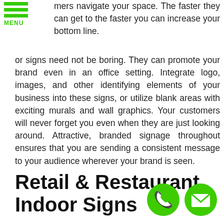[Figure (logo): Green hamburger menu icon with three green horizontal bars and the word MENU in green below]
mers navigate your space. The faster they can get to the faster you can increase your bottom line.
or signs need not be boring. They can promote your brand even in an office setting. Integrate logo, images, and other identifying elements of your business into these signs, or utilize blank areas with exciting murals and wall graphics. Your customers will never forget you even when they are just looking around. Attractive, branded signage throughout ensures that you are sending a consistent message to your audience wherever your brand is seen.
Retail & Restaurant Indoor Signs
[Figure (illustration): Two green circular contact buttons in the bottom right: a phone icon and an email/envelope icon]